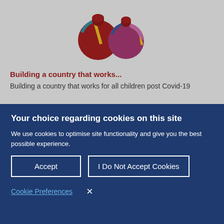[Figure (illustration): Colorful stylized quotation mark logo made of overlapping circular shapes in dark red, teal, gold, and purple colors]
Building a country that works...
Building a country that works for all children post Covid-19
Your choice regarding cookies on this site
We use cookies to optimise site functionality and give you the best possible experience.
Accept
I Do Not Accept Cookies
Cookie Preferences